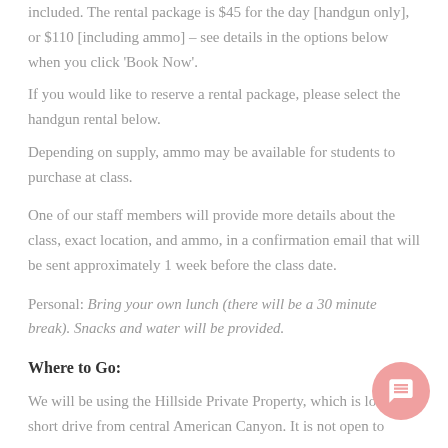included. The rental package is $45 for the day [handgun only], or $110 [including ammo] – see details in the options below when you click 'Book Now'.
If you would like to reserve a rental package, please select the handgun rental below.
Depending on supply, ammo may be available for students to purchase at class.
One of our staff members will provide more details about the class, exact location, and ammo, in a confirmation email that will be sent approximately 1 week before the class date.
Personal: Bring your own lunch (there will be a 30 minute break). Snacks and water will be provided.
Where to Go:
We will be using the Hillside Private Property, which is located a short drive from central American Canyon. It is not open to